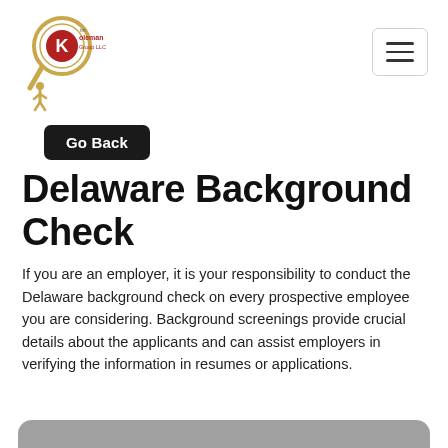[Figure (logo): Koleman Group LLC logo: magnifying glass with letter K and figure, red and gold colors]
Go Back
Delaware Background Check
If you are an employer, it is your responsibility to conduct the Delaware background check on every prospective employee you are considering. Background screenings provide crucial details about the applicants and can assist employers in verifying the information in resumes or applications.